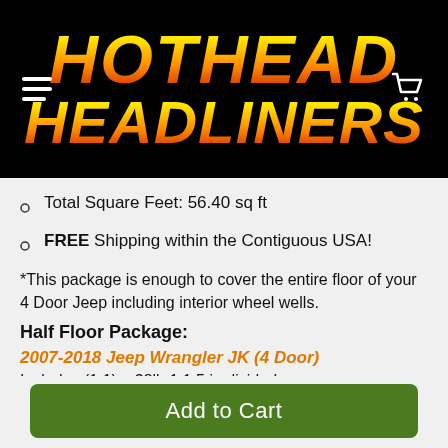HOTHEAD HEADLINERS
Total Square Feet: 56.40 sq ft
FREE Shipping within the Contiguous USA!
*This package is enough to cover the entire floor of your 4 Door Jeep including interior wheel wells.
Half Floor Package:
2007-2018 Jeep Wrangler JK (4 Door)
Includes (1.1) – 38lb 1.1.5 in divided...